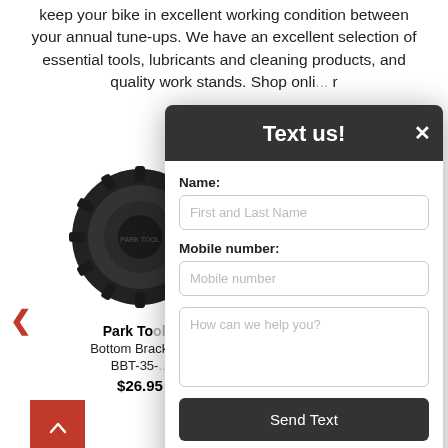keep your bike in excellent working condition between your annual tune-ups. We have an excellent selection of essential tools, lubricants and cleaning products, and quality work stands. Shop onli... r
[Figure (photo): Black Park Tool Bottom Bracket tool product photo on white background]
Park To...
Bottom Brack...
BBT-35-...
$26.95
[Figure (screenshot): Text us! modal dialog with Name field, Mobile number field, How can we help you textarea, and Send Text button. Powered by Ikeono at the bottom. Dark close X button in header.]